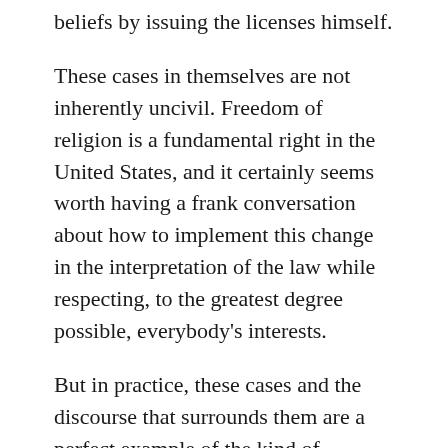beliefs by issuing the licenses himself.
These cases in themselves are not inherently uncivil. Freedom of religion is a fundamental right in the United States, and it certainly seems worth having a frank conversation about how to implement this change in the interpretation of the law while respecting, to the greatest degree possible, everybody's interests.
But in practice, these cases and the discourse that surrounds them are a perfect example of the kind of incivility that is born of a breakdown of communication. All parties are so busy talking to their ideological in-group, and so busy indulging their ideological in-group's preconceived notions,